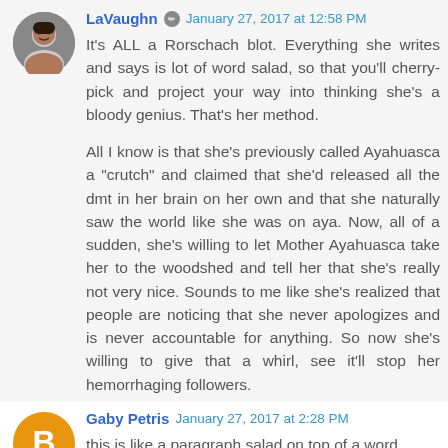LaVaughn · January 27, 2017 at 12:58 PM
It's ALL a Rorschach blot. Everything she writes and says is lot of word salad, so that you'll cherry-pick and project your way into thinking she's a bloody genius. That's her method.
All I know is that she's previously called Ayahuasca a "crutch" and claimed that she'd released all the dmt in her brain on her own and that she naturally saw the world like she was on aya. Now, all of a sudden, she's willing to let Mother Ayahuasca take her to the woodshed and tell her that she's really not very nice. Sounds to me like she's realized that people are noticing that she never apologizes and is never accountable for anything. So now she's willing to give that a whirl, see it'll stop her hemorrhaging followers.
Gaby Petris · January 27, 2017 at 2:28 PM
this is like a paragraph salad on top of a word